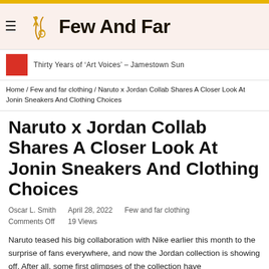Few And Far
Thirty Years of ‘Art Voices’ – Jamestown Sun
Home / Few and far clothing / Naruto x Jordan Collab Shares A Closer Look At Jonin Sneakers And Clothing Choices
Naruto x Jordan Collab Shares A Closer Look At Jonin Sneakers And Clothing Choices
Oscar L. Smith
Comments Off
April 28, 2022
19 Views
Few and far clothing
Naruto teased his big collaboration with Nike earlier this month to the surprise of fans everywhere, and now the Jordan collection is showing off. After all, some first glimpses of the collection have